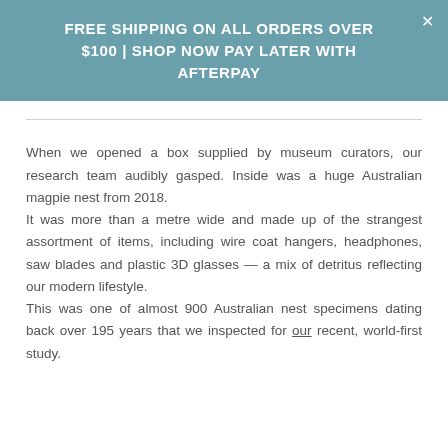FREE SHIPPING ON ALL ORDERS OVER $100 | SHOP NOW PAY LATER WITH AFTERPAY
When we opened a box supplied by museum curators, our research team audibly gasped. Inside was a huge Australian magpie nest from 2018.
It was more than a metre wide and made up of the strangest assortment of items, including wire coat hangers, headphones, saw blades and plastic 3D glasses — a mix of detritus reflecting our modern lifestyle.
This was one of almost 900 Australian nest specimens dating back over 195 years that we inspected for our recent, world-first study.